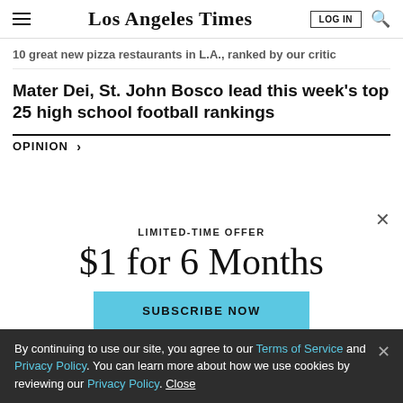Los Angeles Times | LOG IN | [search]
10 great new pizza restaurants in L.A., ranked by our critic
Mater Dei, St. John Bosco lead this week's top 25 high school football rankings
OPINION >
LIMITED-TIME OFFER
$1 for 6 Months
SUBSCRIBE NOW
By continuing to use our site, you agree to our Terms of Service and Privacy Policy. You can learn more about how we use cookies by reviewing our Privacy Policy. Close